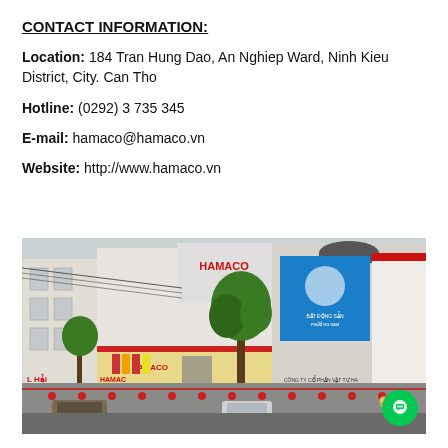CONTACT INFORMATION:
Location: 184 Tran Hung Dao, An Nghiep Ward, Ninh Kieu District, City. Can Tho
Hotline: (0292) 3 735 345
E-mail: hamaco@hamaco.vn
Website: http://www.hamaco.vn
[Figure (photo): Street-level photo of HAMACO building on Tran Hung Dao street in Can Tho, showing the storefront with HAMACO signage, parked vehicles, trees, and adjacent buildings including a blue billboard.]